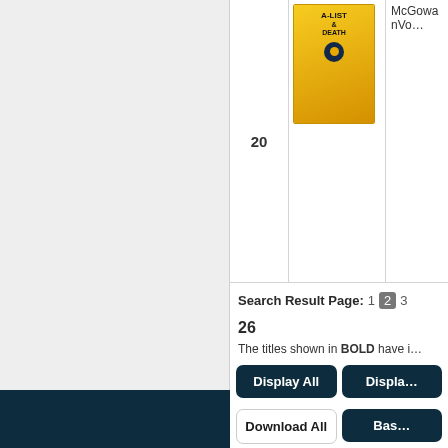| Rank | Cover | Title/Author |
| --- | --- | --- |
| 20 | [book cover: A-List of Death] | McGowanVo... |
Search Result Page: 1 2 3
26
The titles shown in BOLD have i...
Display All
Display...
Download All
Bas...
Email Selections